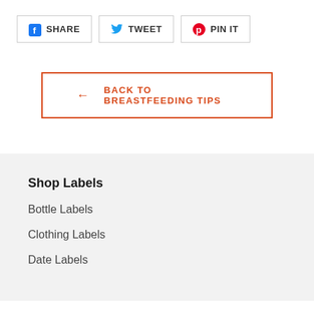[Figure (other): Social sharing buttons: Facebook SHARE, Twitter TWEET, Pinterest PIN IT]
← BACK TO BREASTFEEDING TIPS
Shop Labels
Bottle Labels
Clothing Labels
Date Labels